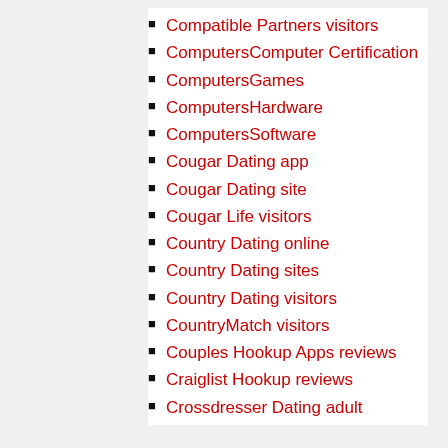Compatible Partners visitors
ComputersComputer Certification
ComputersGames
ComputersHardware
ComputersSoftware
Cougar Dating app
Cougar Dating site
Cougar Life visitors
Country Dating online
Country Dating sites
Country Dating visitors
CountryMatch visitors
Couples Hookup Apps reviews
Craiglist Hookup reviews
Crossdresser Dating adult